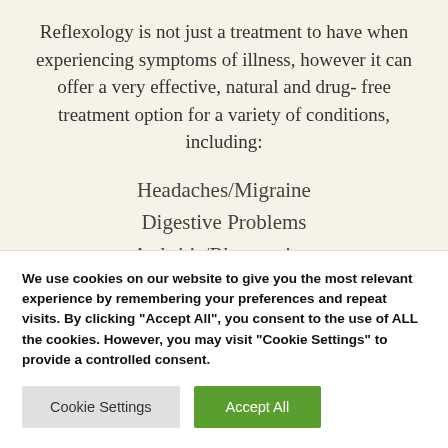Reflexology is not just a treatment to have when experiencing symptoms of illness, however it can offer a very effective, natural and drug- free treatment option for a variety of conditions, including:
Headaches/Migraine
Digestive Problems
Arthritis/Rheumatism
Allergies/Hayfever/Sinus Problems
We use cookies on our website to give you the most relevant experience by remembering your preferences and repeat visits. By clicking "Accept All", you consent to the use of ALL the cookies. However, you may visit "Cookie Settings" to provide a controlled consent.